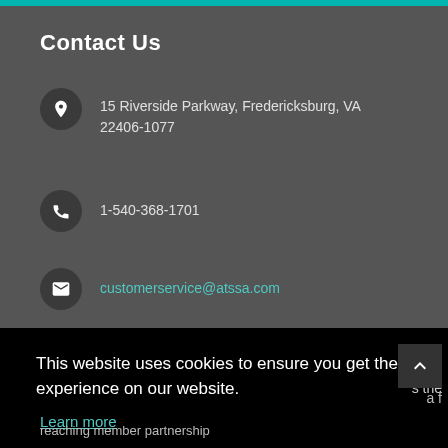Contact Us
15 Riverside Parkway, Fredericksburg, VA 22406-1077
1-540-368-1701
customerservice@atssa.com
This website uses cookies to ensure you get the best experience on our website.
Learn more
Got it!
s the
a f
reaching member partnership